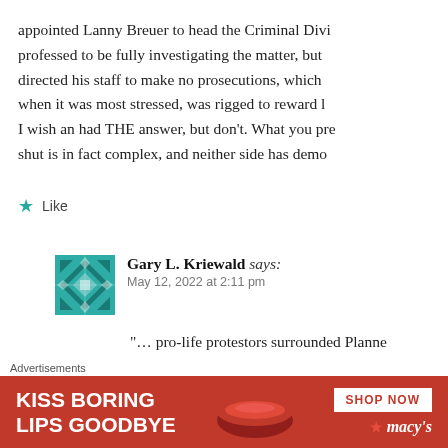appointed Lanny Breuer to head the Criminal Divi... professed to be fully investigating the matter, bu... directed his staff to make no prosecutions, which... when it was most stressed, was rigged to reward... I wish an had THE answer, but don't. What you pre... shut is in fact complex, and neither side has demo...
★ Like
Gary L. Kriewald says: May 12, 2022 at 2:11 pm
"… pro-life protestors surrounded Planne... screamed at young women … that they w... happened, but it also happened that many... the young women that they (and their...
[Figure (other): Macy's advertisement banner: 'KISS BORING LIPS GOODBYE' with SHOP NOW button and Macy's star logo]